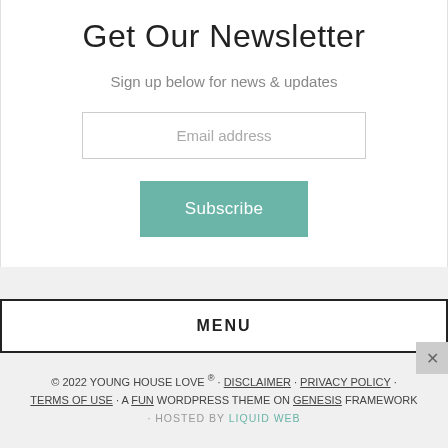Get Our Newsletter
Sign up below for news & updates
Email address
Subscribe
MENU
© 2022 YOUNG HOUSE LOVE ® · DISCLAIMER · PRIVACY POLICY · TERMS OF USE · A FUN WORDPRESS THEME ON GENESIS FRAMEWORK · HOSTED BY LIQUID WEB